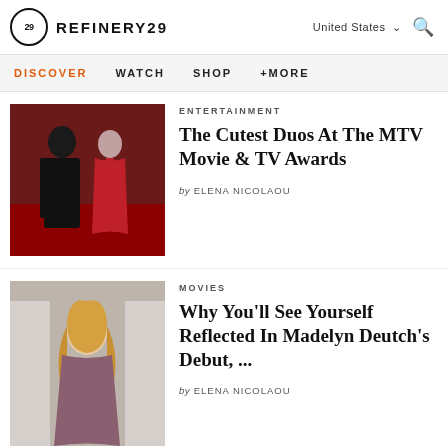REFINERY29 | United States | Search
DISCOVER | WATCH | SHOP | +MORE
ENTERTAINMENT
The Cutest Duos At The MTV Movie & TV Awards
by ELENA NICOLAOU
[Figure (photo): A man in a black tuxedo with gold trim and a woman in a red slit gown on a red carpet]
MOVIES
Why You'll See Yourself Reflected In Madelyn Deutch's Debut, ...
by ELENA NICOLAOU
[Figure (photo): A young blonde woman in a floral/patterned dress standing against a light background]